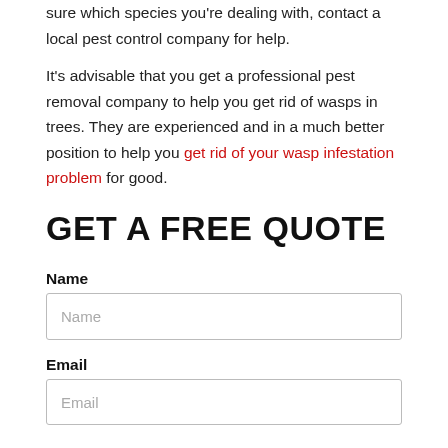sure which species you're dealing with, contact a local pest control company for help.
It's advisable that you get a professional pest removal company to help you get rid of wasps in trees. They are experienced and in a much better position to help you get rid of your wasp infestation problem for good.
GET A FREE QUOTE
Name
Name
Email
Email